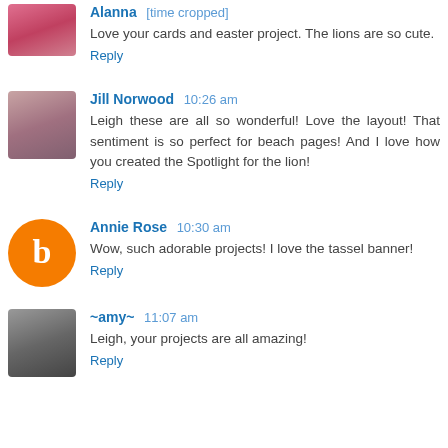Alanna [time cropped] - Love your cards and easter project. The lions are so cute. Reply
Jill Norwood 10:26 am - Leigh these are all so wonderful! Love the layout! That sentiment is so perfect for beach pages! And I love how you created the Spotlight for the lion! Reply
Annie Rose 10:30 am - Wow, such adorable projects! I love the tassel banner! Reply
~amy~ 11:07 am - Leigh, your projects are all amazing! Reply